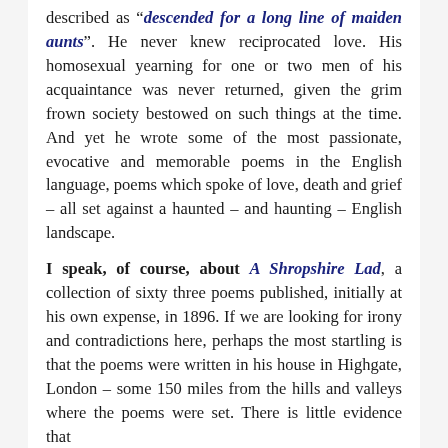described as “descended for a long line of maiden aunts”. He never knew reciprocated love. His homosexual yearning for one or two men of his acquaintance was never returned, given the grim frown society bestowed on such things at the time. And yet he wrote some of the most passionate, evocative and memorable poems in the English language, poems which spoke of love, death and grief – all set against a haunted – and haunting – English landscape.
I speak, of course, about A Shropshire Lad, a collection of sixty three poems published, initially at his own expense, in 1896. If we are looking for irony and contradictions here, perhaps the most startling is that the poems were written in his house in Highgate, London – some 150 miles from the hills and valleys where the poems were set. There is little evidence that Housman ever once set foot in Shropshire.